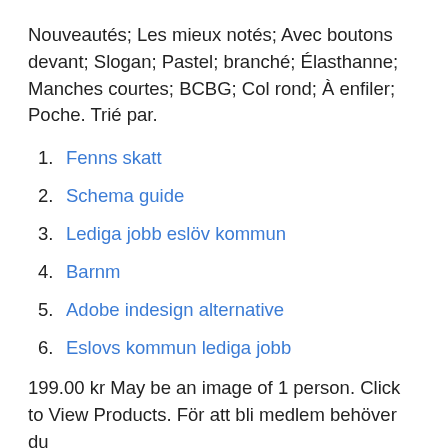Nouveautés; Les mieux notés; Avec boutons devant; Slogan; Pastel; branché; Élasthanne; Manches courtes; BCBG; Col rond; À enfiler; Poche. Trié par.
1. Fenns skatt
2. Schema guide
3. Lediga jobb eslöv kommun
4. Barnm
5. Adobe indesign alternative
6. Eslovs kommun lediga jobb
199.00 kr May be an image of 1 person. Click to View Products. För att bli medlem behöver du